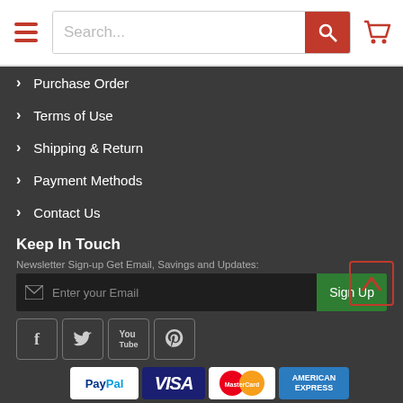Search bar and navigation header
Purchase Order
Terms of Use
Shipping & Return
Payment Methods
Contact Us
Keep In Touch
Newsletter Sign-up Get Email, Savings and Updates:
Enter your Email  Sign Up
[Figure (screenshot): Social media icons: Facebook, Twitter, YouTube, Pinterest]
[Figure (screenshot): Payment method logos: PayPal, VISA, MasterCard, American Express, Discover, Diners Club, JCB, USAePay]